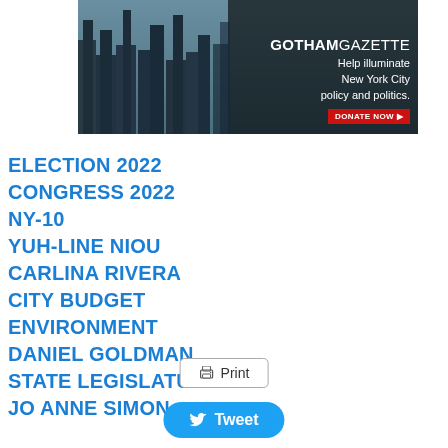[Figure (photo): Aerial view of New York City skyline with Gotham Gazette advertisement overlay. Text reads: GOTHAM GAZETTE Help illuminate New York City policy and politics. DONATE NOW.]
ELECTION 2022
CONGRESS 2022
NY-10
YUH-LINE NIOU
CARLINA RIVERA
CITY BUDGET
ENVIRONMENT
DANIEL GOLDMAN
STATE LEGISLATURE
JO ANNE SIMON
Print
Tweet